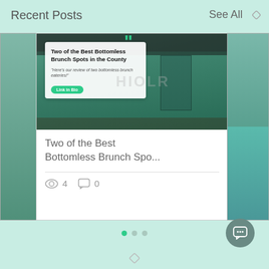Recent Posts
See All
[Figure (screenshot): Social media post card showing a restaurant exterior photo with an overlay card reading 'Two of the Best Bottomless Brunch Spots in the County' with quote icons, subtitle text 'Here's our review of two bottomless brunch eateries!' and a green 'Link in Bio' button. Below the image: title 'Two of the Best Bottomless Brunch Spo...' with view count 4 and comment count 0.]
Two of the Best Bottomless Brunch Spo...
4
0